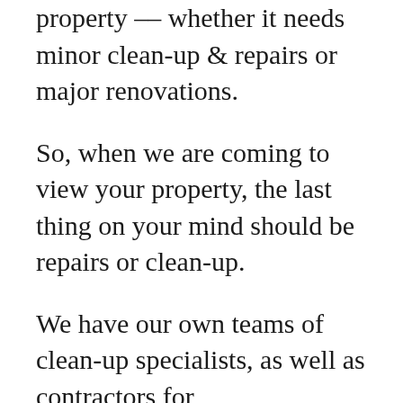property –– whether it needs minor clean-up & repairs or major renovations.
So, when we are coming to view your property, the last thing on your mind should be repairs or clean-up.
We have our own teams of clean-up specialists, as well as contractors for